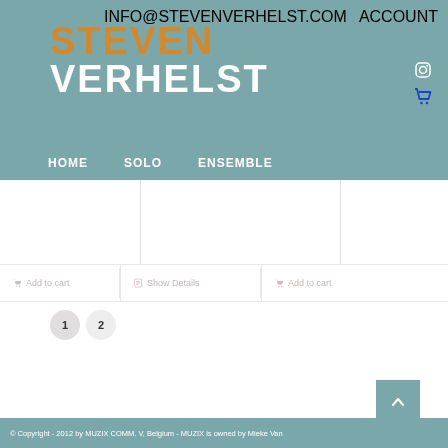INFO@STEVENVERHELST.COM   ACCOUNT
STEVEN VERHELST
HOME   SOLO   ENSEMBLE
Add to cart   Show Details   Add to cart
1  2
© Copyright - 2012 by MUZIX COMM. V, Belgium - MUZIX is owned by Mieke Van